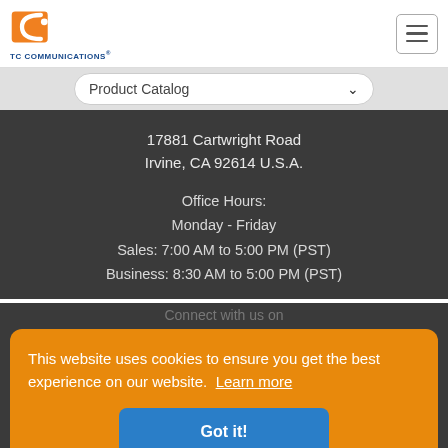TC COMMUNICATIONS
Product Catalog
17881 Cartwright Road
Irvine, CA 92614 U.S.A.
Office Hours:
Monday - Friday
Sales: 7:00 AM to 5:00 PM (PST)
Business: 8:30 AM to 5:00 PM (PST)
This website uses cookies to ensure you get the best experience on our website. Learn more
Got it!
Connect with us on